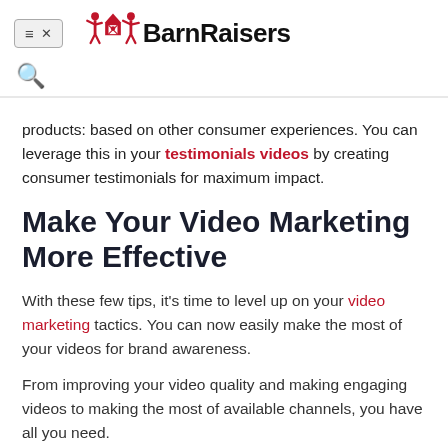≡× BarnRaisers
products: based on other consumer experiences. You can leverage this in your testimonials videos by creating consumer testimonials for maximum impact.
Make Your Video Marketing More Effective
With these few tips, it's time to level up on your video marketing tactics. You can now easily make the most of your videos for brand awareness.
From improving your video quality and making engaging videos to making the most of available channels, you have all you need.
Once you pick the type of videos that best represent your brand…